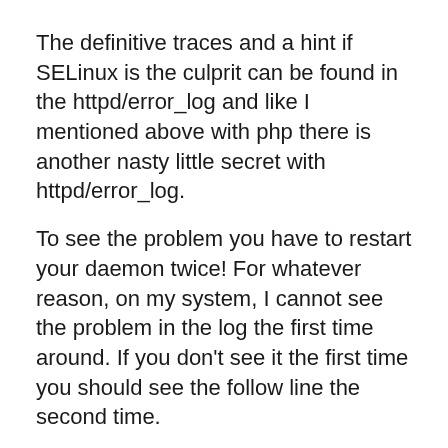The definitive traces and a hint if SELinux is the culprit can be found in the httpd/error_log and like I mentioned above with php there is another nasty little secret with httpd/error_log.
To see the problem you have to restart your daemon twice! For whatever reason, on my system, I cannot see the problem in the log the first time around. If you don't see it the first time you should see the follow line the second time.
Failed loading /usr/lib64/httpd/modules/ZendGuardLoader.so: /usr/lib64/httpd/modules/ZendGuardLoader.so: cannot enable executable stack as shared object requires: Permission denied
This is a problem with the ZendGuardLoader.so file itself provided by Zend. I am not sure if they are aware of the problem or how this should be tackled and fixed from their side but following is the solution